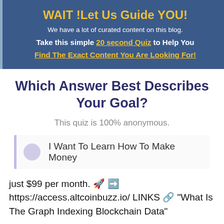WAIT !Let Us Guide YOU!
We have a lot of curated content on this blog.
Take this simple 20 second Quiz to Help You Find The Exact Content You Are Looking For!
Which Answer Best Describes Your Goal?
This quiz is 100% anonymous.
I Want To Learn How To Make Money
just $99 per month. 🚀 ➡️ https://access.altcoinbuzz.io/ LINKS 🔗 "What Is The Graph Indexing Blockchain Data"